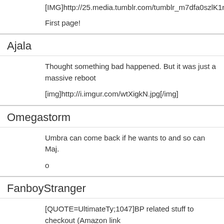[IMG]http://25.media.tumblr.com/tumblr_m7dfa0szlK1rw6hzpo1_128
First page!
Ajala
Thought something bad happened. But it was just a massive reboot
[img]http://i.imgur.com/wtXigkN.jpg[/img]
Omegastorm
Umbra can come back if he wants to and so can Maj.
o
FanboyStranger
[QUOTE=UltimateTy;1047]BP related stuff to checkout (Amazon link